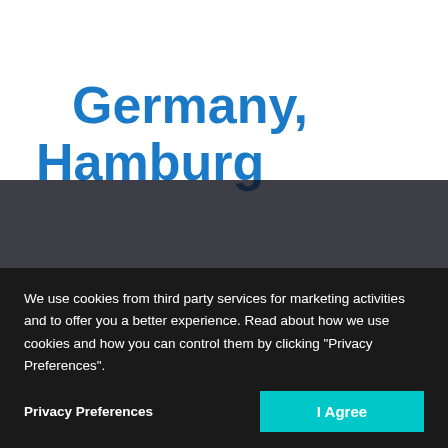Germany, Hamburg
We use cookies from third party services for marketing activities and to offer you a better experience. Read about how we use cookies and how you can control them by clicking "Privacy Preferences".
Privacy Preferences
I Agree